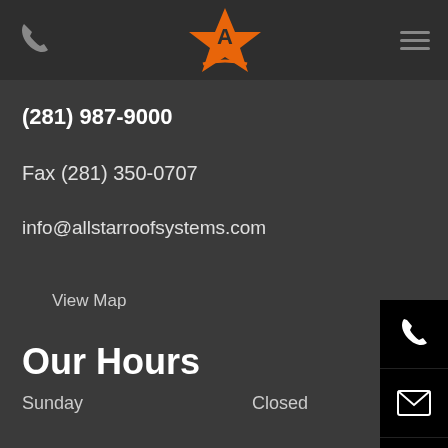Navigation header with phone icon, All Star Roof Systems logo, and hamburger menu
(281) 987-9000
Fax (281) 350-0707
info@allstarroofsystems.com
View Map
Our Hours
Sunday    Closed